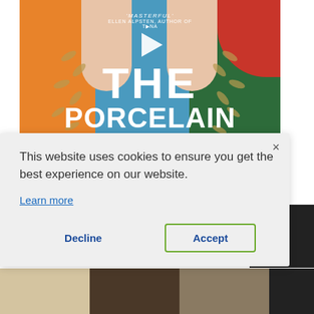[Figure (screenshot): Book cover for 'The Porcelain Doll' on a website, with colorful illustrated design in blue, orange, green, and red. Text reads 'MASTERFUL' ELLEN ALPSTEN, AUTHOR OF T[SINA]. THE PORCELAIN DOLL. A play button icon overlays the center.]
This website uses cookies to ensure you get the best experience on our website.
Learn more
Decline
Accept